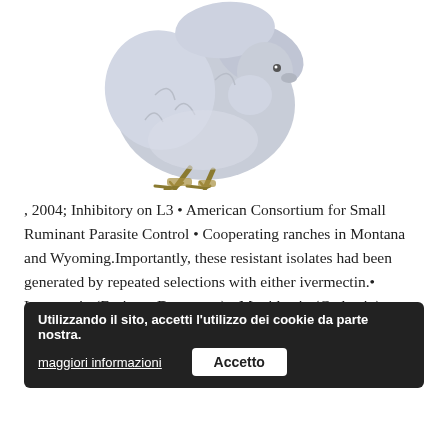[Figure (illustration): A grey/white fluffy chick or young chicken facing right, with golden-yellow legs and feet, photographed or illustrated against a white background.]
, 2004; Inhibitory on L3 • American Consortium for Small Ruminant Parasite Control • Cooperating ranches in Montana and Wyoming.Importantly, these resistant isolates had been generated by repeated selections with either ivermectin.• Ivermectin (Eprinex, Dectomax) • Moxidectin (Cydectin) • Levamisole (Panacur, Prohibit) 100%... is a disease caused by... in the genus Strongyloides.It is attached to the hair by cement
Utilizzando il sito, accetti l'utilizzo dei cookie da parte nostra.
maggiori informazioni
Accetto